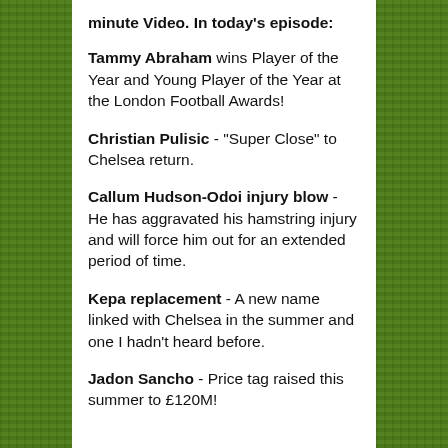minute Video. In today's episode:
Tammy Abraham wins Player of the Year and Young Player of the Year at the London Football Awards!
Christian Pulisic - "Super Close" to Chelsea return.
Callum Hudson-Odoi injury blow - He has aggravated his hamstring injury and will force him out for an extended period of time.
Kepa replacement - A new name linked with Chelsea in the summer and one I hadn't heard before.
Jadon Sancho - Price tag raised this summer to £120M!